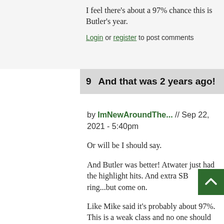I feel there's about a 97% chance this is Butler's year.
Login or register to post comments
9  And that was 2 years ago!
by ImNewAroundThe... // Sep 22, 2021 - 5:40pm
Or will be I should say.
And Butler was better! Atwater just had the highlight hits. And extra SB ring...but come on.
Like Mike said it's probably about 97%. This is a weak class and no one should have any locks (above him at least).